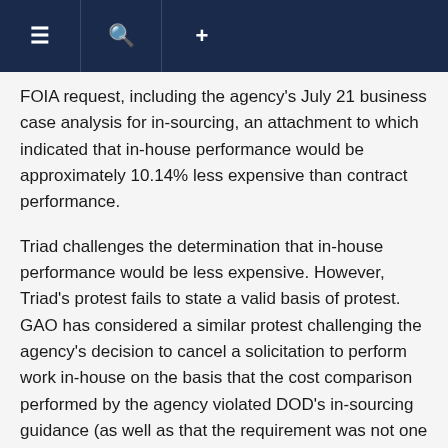≡  🔍  +
FOIA request, including the agency's July 21 business case analysis for in-sourcing, an attachment to which indicated that in-house performance would be approximately 10.14% less expensive than contract performance.
Triad challenges the determination that in-house performance would be less expensive. However, Triad's protest fails to state a valid basis of protest. GAO has considered a similar protest challenging the agency's decision to cancel a solicitation to perform work in-house on the basis that the cost comparison performed by the agency violated DOD's in-sourcing guidance (as well as that the requirement was not one given priority under section 2463). GAO held that